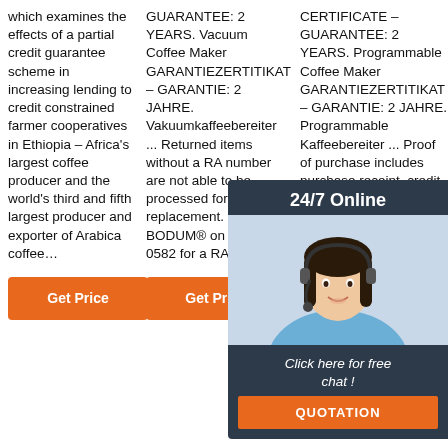which examines the effects of a partial credit guarantee scheme in increasing lending to credit constrained farmer cooperatives in Ethiopia – Africa's largest coffee producer and the world's third and fifth largest producer and exporter of Arabica coffee…
GUARANTEE: 2 YEARS. Vacuum Coffee Maker GARANTIEZERTITIKAT – GARANTIE: 2 JAHRE. Vakuumkaffeebereiter ... Returned items without a RA number are not able to be processed for credit or replacement. Contact BODUM® on (02) 9692 0582 for a RA number.
CERTIFICATE – GUARANTEE: 2 YEARS. Programmable Coffee Maker GARANTIEZERTITIKAT – GARANTIE: 2 JAHRE. Programmable Kaffeebereiter ... Proof of purchase includes purchase receipt, credit card statement showing the purchase amount. once claim is validated, if possible please ...
[Figure (infographic): Chat widget overlay with '24/7 Online' header, photo of woman with headset, 'Click here for free chat!' text, and orange QUOTATION button]
[Figure (logo): TOP logo with orange dots pattern above the letters T-O-P in orange]
Get Price
Get Price